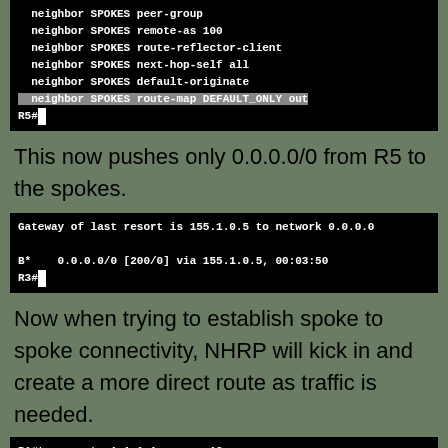[Figure (screenshot): Terminal output showing BGP neighbor configuration commands for SPOKES peer-group, ending with R5# prompt]
This now pushes only 0.0.0.0/0 from R5 to the spokes.
[Figure (screenshot): Router R3 terminal output showing gateway of last resort and BGP route 0.0.0.0/0 via 155.1.0.5]
Now when trying to establish spoke to spoke connectivity, NHRP will kick in and create a more direct route as traffic is needed.
[Figure (screenshot): R1 traceroute command beginning: R1#traceroute 1.1.1.1 source 13, Type escape sequence to abort]